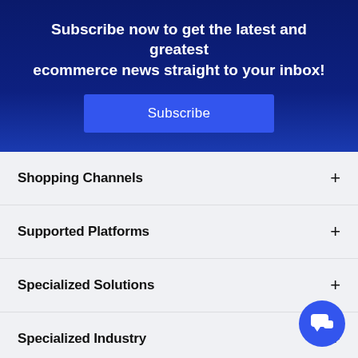Subscribe now to get the latest and greatest ecommerce news straight to your inbox!
Shopping Channels
Supported Platforms
Specialized Solutions
Specialized Industry
Important Links
Popular Links